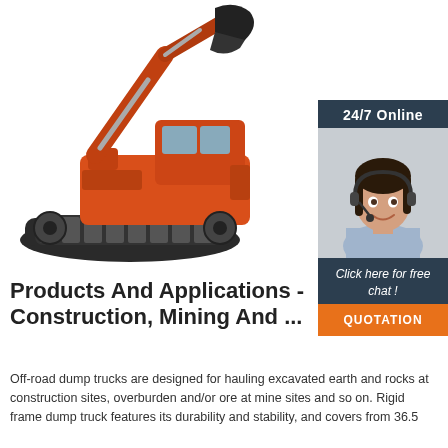[Figure (photo): Red tracked excavator (crawler excavator) photographed against white background, with arm raised and bucket visible at top.]
[Figure (photo): 24/7 Online customer support sidebar: dark slate header reading '24/7 Online', photo of smiling woman with headset, dark footer with italic text 'Click here for free chat!', orange button labeled 'QUOTATION'.]
Products And Applications - Construction, Mining And ...
Off-road dump trucks are designed for hauling excavated earth and rocks at construction sites, overburden and/or ore at mine sites and so on. Rigid frame dump truck features its durability and stability, and covers from 36.5